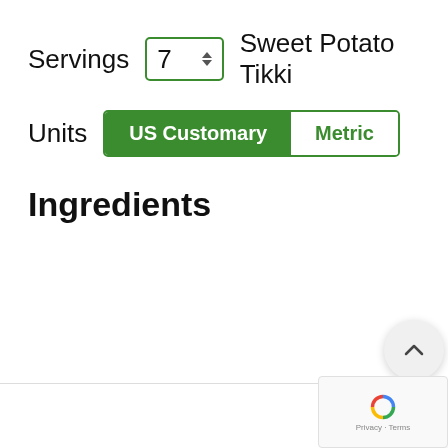Servings  7  Sweet Potato Tikki
Units  US Customary  Metric
Ingredients
[Figure (other): Scroll-up button (chevron up icon in light gray circle), count label 345, heart/favorite button (heart icon in light gray circle), search button (magnifying glass icon in green circle)]
[Figure (other): reCAPTCHA badge with blue swirl logo and Privacy Terms text]